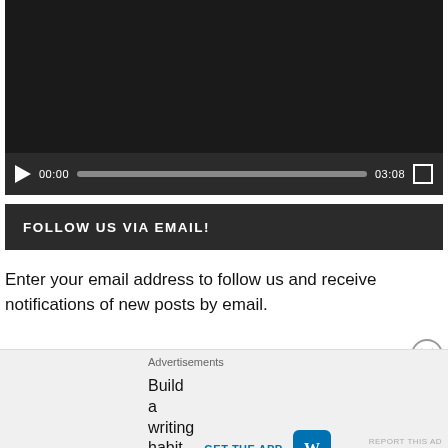[Figure (screenshot): Video player with dark background and controls showing play button, time 00:00, progress bar, duration 03:08, and fullscreen button]
FOLLOW US VIA EMAIL!
Enter your email address to follow us and receive notifications of new posts by email.
Enter your email address
Advertisements
Build a writing habit. Post on the go. GET THE APP